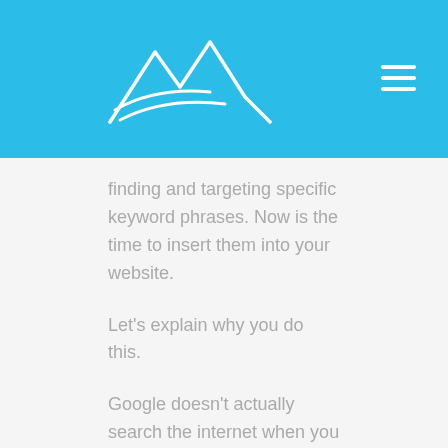[Logo and navigation header]
finding and targeting specific keyword phrases. Now is the time to insert them into your website.
Let's explain why you do this.
Google doesn't actually search the internet when you type in your enquiry or search. Google searches its own index. It creates an index of websites by sending out little programs called bots or crawlers which search websites to get an understanding of what they are about.